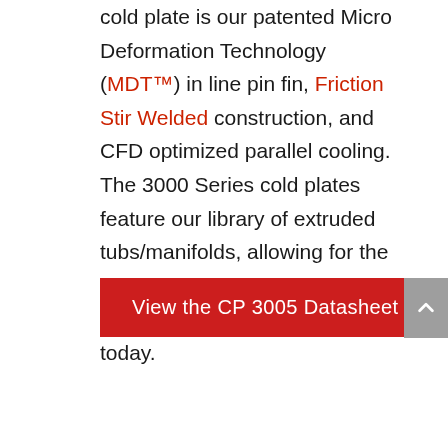cold plate is our patented Micro Deformation Technology (MDT™) in line pin fin, Friction Stir Welded construction, and CFD optimized parallel cooling. The 3000 Series cold plates feature our library of extruded tubs/manifolds, allowing for the best performing and lowest cost cold plate on the market today.
View the CP 3005 Datasheet